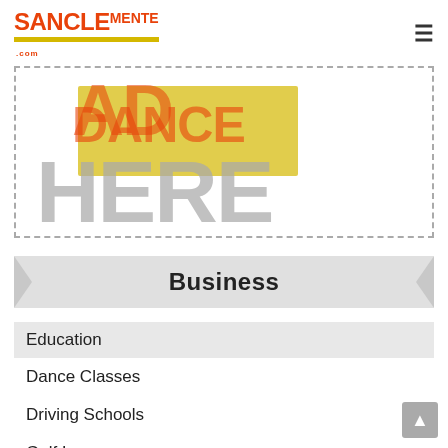SANCLE MENTE .com
[Figure (other): Ad placeholder with dashed border, showing 'AD HERE' text overlay with orange and yellow elements]
Business
Education
Dance Classes
Driving Schools
Golf Lessons